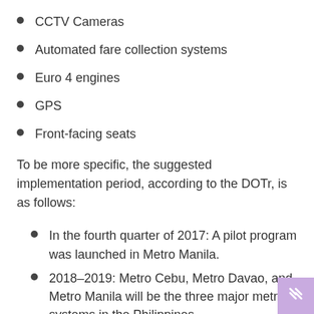CCTV Cameras
Automated fare collection systems
Euro 4 engines
GPS
Front-facing seats
To be more specific, the suggested implementation period, according to the DOTr, is as follows:
In the fourth quarter of 2017: A pilot program was launched in Metro Manila.
2018–2019: Metro Cebu, Metro Davao, and Metro Manila will be the three major metro systems in the Philippines.
2019–2020: The rest of the country and Highly Urbanized Cities.